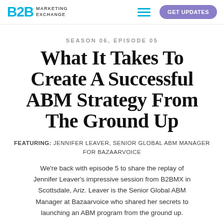B2B MARKETING EXCHANGE
SEASON 06, EPISODE 05
What It Takes To Create A Successful ABM Strategy From The Ground Up
FEATURING: JENNIFER LEAVER, SENIOR GLOBAL ABM MANAGER FOR BAZAARVOICE
We're back with episode 5 to share the replay of Jennifer Leaver's impressive session from B2BMX in Scottsdale, Ariz. Leaver is the Senior Global ABM Manager at Bazaarvoice who shared her secrets to launching an ABM program from the ground up.